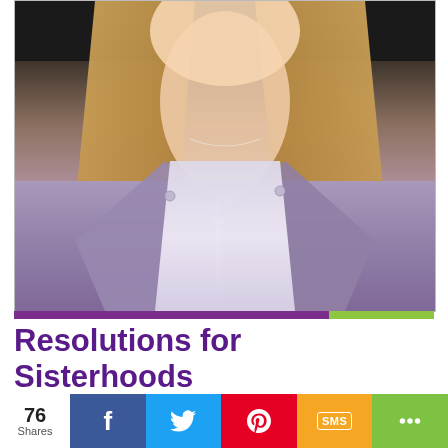[Figure (photo): Close-up photo of a young woman with long blonde hair wearing a lavender jacket and white t-shirt with a delicate necklace, photographed against a dark background.]
Resolutions for Sisterhoods
Kate Franklin | January 6, 2022
We want to wish you a happy and healthy
76 Shares